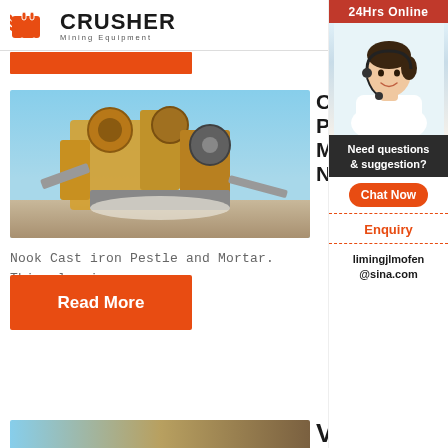[Figure (logo): Crusher Mining Equipment logo with orange shopping bag icon and bold text]
[Figure (photo): Industrial mining crusher machinery with yellow equipment against blue sky]
Cast iron Pestle and Mortar – Noo
Nook Cast iron Pestle and Mortar. This classic c…
Read More
Vegetable
[Figure (photo): Customer service representative sidebar with 24Hrs Online banner, agent photo, need questions & suggestion, Chat Now button, Enquiry link, and email limingjlmofen@sina.com]